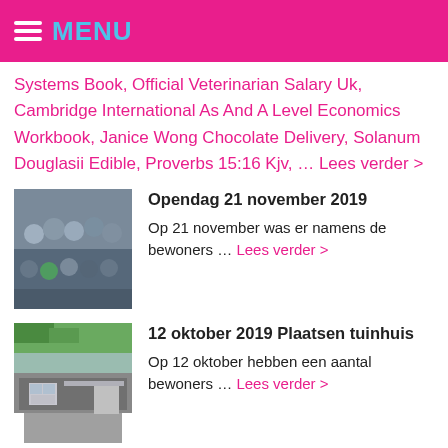MENU
Systems Book, Official Veterinarian Salary Uk, Cambridge International As And A Level Economics Workbook, Janice Wong Chocolate Delivery, Solanum Douglasii Edible, Proverbs 15:16 Kjv, … Lees verder >
[Figure (photo): Group photo of people at an open day event]
Opendag 21 november 2019
Op 21 november was er namens de bewoners … Lees verder >
[Figure (photo): Photo of a garden shed being placed]
12 oktober 2019 Plaatsen tuinhuis
Op 12 oktober hebben een aantal bewoners … Lees verder >
[Figure (logo): Partial logo visible at bottom left]